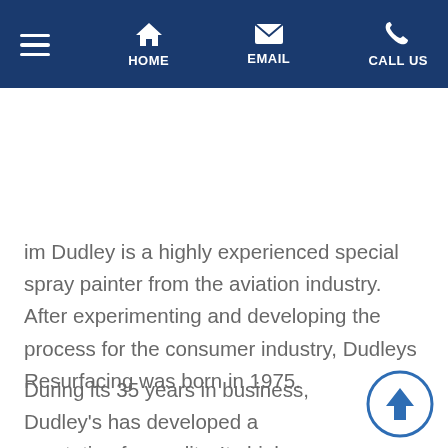HOME | EMAIL | CALL US
im Dudley is a highly experienced special spray painter from the aviation industry. After experimenting and developing the process for the consumer industry, Dudleys Resurfacing was born in 1975.
During its 35 years in business, Dudley's has developed a reputation for quality. Its high standard of workmanship means it can offer you genuine guarantees. Since